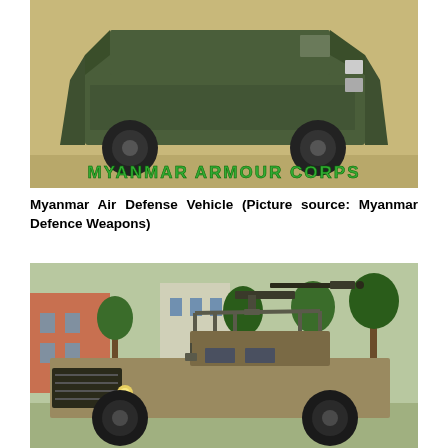[Figure (photo): Green armored military vehicle (Myanmar Air Defense Vehicle) photographed on sandy/dirt ground. Text overlay reads 'MYANMAR ARMOUR CORPS' in green letters at the bottom of the image.]
Myanmar Air Defense Vehicle (Picture source: Myanmar Defence Weapons)
[Figure (photo): Military tactical vehicle (HMMWV/Humvee style) with a mounted machine gun on top, photographed outdoors near a building with trees in the background. Vehicle is in desert/camouflage tan and olive coloring.]